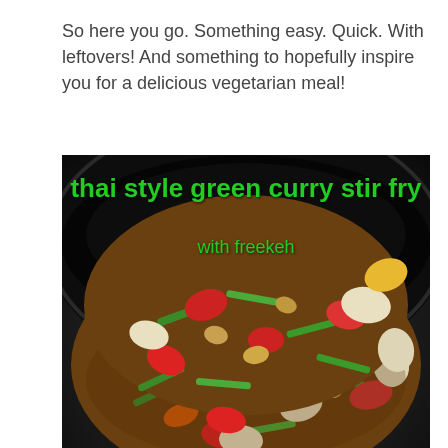So here you go. Something easy. Quick. With leftovers! And something to hopefully inspire you for a delicious vegetarian meal!
[Figure (photo): Photo of a wok/pan containing thai style green curry stir fry with freekeh — colorful vegetables including green beans, red peppers, carrots, onions, and freekeh grain, cooked in a dark pan. Overlaid green text reads 'thai style green curry stir fry' and 'with freekeh'.]